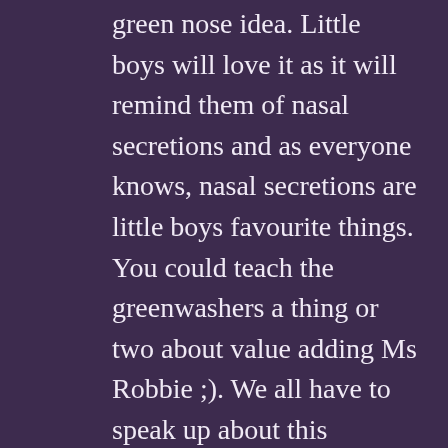green nose idea. Little boys will love it as it will remind them of nasal secretions and as everyone knows, nasal secretions are little boys favourite things. You could teach the greenwashers a thing or two about value adding Ms Robbie ;). We all have to speak up about this greenwashing pile of bunkum that the big companies are trying to rain down on us. Don't they realise that we are educated people?! We have the power of the internet to expose their lies and we WILL. Green noses unite and we will continue to stick our green noses into these piles of (hog/)greenwash and expose the smelly bits underneath the hype.